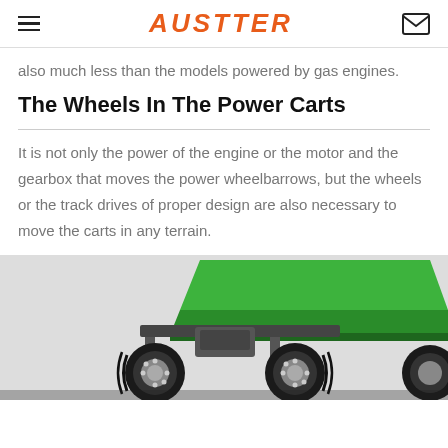AUSTTER
also much less than the models powered by gas engines.
The Wheels In The Power Carts
It is not only the power of the engine or the motor and the gearbox that moves the power wheelbarrows, but the wheels or the track drives of proper design are also necessary to move the carts in any terrain.
[Figure (photo): Close-up photo of a green power cart / wheelbarrow showing large rugged black wheels with silver rims and a green tipping bucket body]